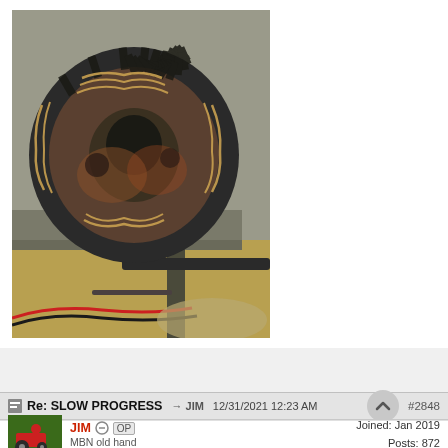[Figure (photo): A burned/damaged electric motor stator with coils and windings visible, sitting on a metal workbench with yellow surface visible at the bottom and red/black wires.]
Re: SLOW PROGRESS  JIM  12/31/2021 12:23 AM  #2848
JIM  OP  MBN old hand  Joined: Jan 2019  Posts: 872